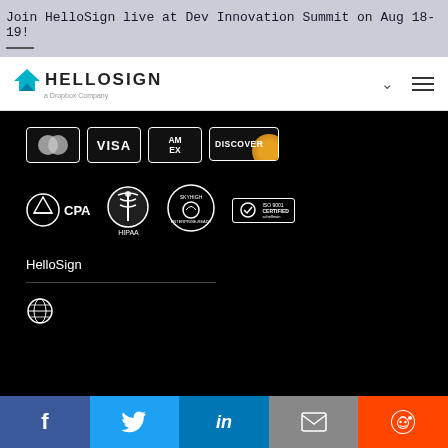Join HelloSign live at Dev Innovation Summit on Aug 18-19!
[Figure (logo): HelloSign logo - a Dropbox Company, with teal downward chevron/triangle and navigation icons]
[Figure (infographic): Payment method logos: Mastercard, Visa, American Express, Discover]
[Figure (infographic): Certification/compliance logos: CPA, HIPAA, SkyHigh Enterprise-Ready, ISO 9001 Certified]
HelloSign
[Figure (infographic): Social sharing bar with Facebook, Twitter, LinkedIn, Email, and Reddit buttons]